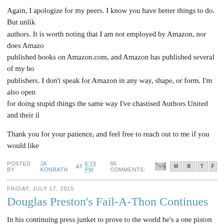Again, I apologize for my peers. I know you have better things to do. But unlike authors. It is worth noting that I am not employed by Amazon, nor does Amazon published books on Amazon.com, and Amazon has published several of my bo publishers. I don't speak for Amazon in any way, shape, or form. I'm also open for doing stupid things the same way I've chastised Authors United and their il
Thank you for your patience, and feel free to reach out to me if you would like
POSTED BY JA KONRATH AT 6:19 PM  86 COMMENTS:
FRIDAY, JULY 17, 2015
Douglas Preston's Fail-A-Thon Continues
In his continuing press junket to prove to the world he's a one piston shy of a t with the American Booksellers Association. Same old nonsense, but I had som
Bookselling This Week: Why do you think there is such overwhelming suppo booksellers, authors, and author reps?
Joe sez: Way to load the question. The only thing overwhelming is the blind h Representatives and the Authors Guild, who have worn out their usefulness to